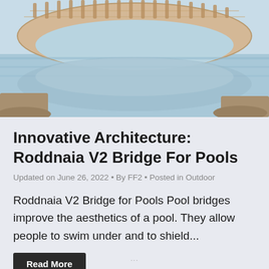[Figure (photo): Architectural bridge structure over a pool with arched stone/brick design reflected in the water below, photographed in daylight with light blue sky.]
Innovative Architecture: Roddnaia V2 Bridge For Pools
Updated on June 26, 2022 • By FF2 • Posted in Outdoor
Roddnaia V2 Bridge for Pools Pool bridges improve the aesthetics of a pool. They allow people to swim under and to shield...
Read More